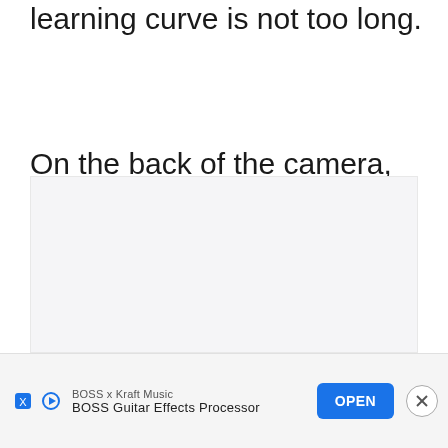learning curve is not too long.
On the back of the camera, you have the Play button, followed by the menu button that opens up all sorts of options for controlling exposure, camera settings, etc., and the other important buttons.
[Figure (other): Gray placeholder/advertisement box area]
BOSS x Kraft Music
BOSS Guitar Effects Processor